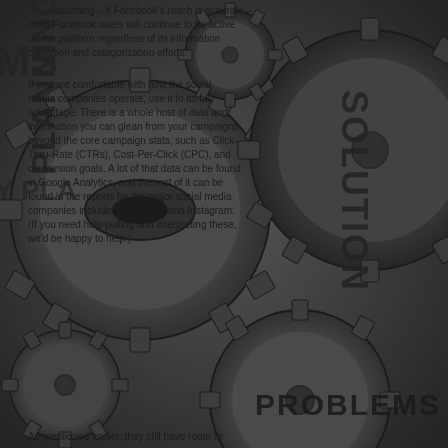[Figure (photo): A close-up photo of interlocking metallic gears/cogs with words engraved or overlaid on them: PROBLEMS, SOLUTION, PLANNING, and partial letters of other words on the gear teeth. The gears are dark grey/silver in color. Text about social media analytics is overlaid on the image.]
assuming – if Facebook's reach is accurate – most Facebook users will continue to be active on the platform regardless of its information collection and categorization efforts. If you are comfortable with how the social media companies operate, use it to its full advantage. There is a whole host of data and information you can glean from your campaigns beyond the core campaign stats, such as Click-Thru-Rate (CTRs), Cost-Per-Click (CPC), and conversion goals. A lot of that data can be found in Google Analytics, and the rest of it can be found in the reports for the major social media companies including Facebook and Instagram. (If you need help pulling and interpreting these, we'd be happy to help.) As mentioned earlier, they still have room to